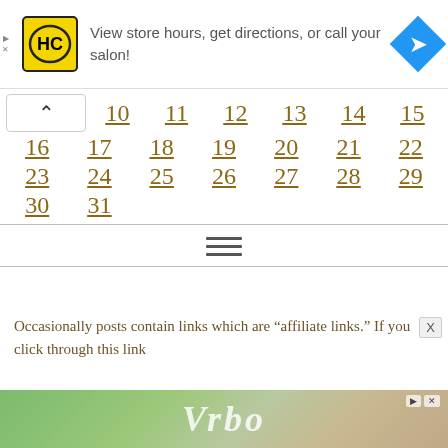[Figure (screenshot): Advertisement banner: HC salon logo (yellow square with HC text), text 'View store hours, get directions, or call your salon!', blue diamond navigation arrow icon on right. Small play/close controls on left edge.]
|  | 10 | 11 | 12 | 13 | 14 | 15 |
| 16 | 17 | 18 | 19 | 20 | 21 | 22 |
| 23 | 24 | 25 | 26 | 27 | 28 | 29 |
| 30 | 31 |  |  |  |  |  |
[Figure (screenshot): Hamburger menu icon (three horizontal lines)]
Occasionally posts contain links which are “affiliate links.” If you click through this link
[Figure (screenshot): Vrbo advertisement banner at the bottom with tropical background and Vrbo logo text in white italic serif font. Ad controls (play, close) top right, X dismiss button right side.]